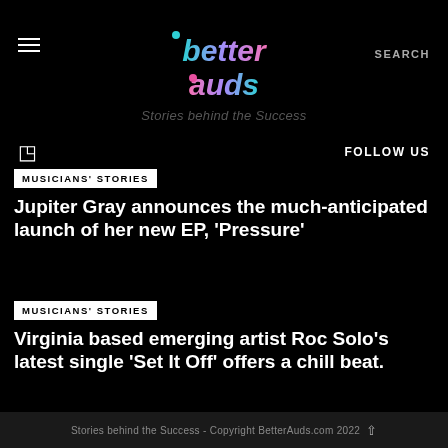[Figure (logo): Better Auds logo with colorful gradient text on black background]
Stories behind the Success
FOLLOW US
MUSICIANS' STORIES
Jupiter Gray announces the much-anticipated launch of her new EP, 'Pressure'
MUSICIANS' STORIES
Virginia based emerging artist Roc Solo's latest single 'Set It Off' offers a chill beat.
Stories behind the Success - Copyright BetterAuds.com 2022